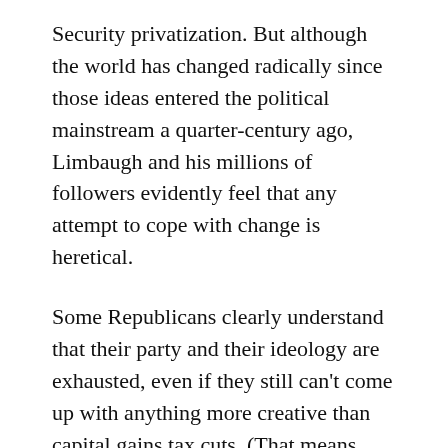Security privatization. But although the world has changed radically since those ideas entered the political mainstream a quarter-century ago, Limbaugh and his millions of followers evidently feel that any attempt to cope with change is heretical.
Some Republicans clearly understand that their party and their ideology are exhausted, even if they still can't come up with anything more creative than capital gains tax cuts. (That means you, Newt Gingrich.) They also know that as a public spokesman and symbol, Limbaugh, whose utterances over the years have been larded with obnoxious racism and sexism, leaves much to be desired... For Democrats, these clown shows are amusing and encouraging. As long as the Republicans kowtow to Limbaugh, they won't be able to muster substantive opposition to President